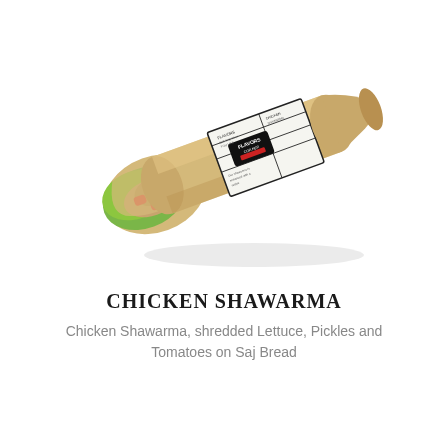[Figure (photo): A chicken shawarma wrap in a white newspaper-print branded wrapper with 'FLAVORS' and 'EAT THE WAY YOU LIKE' text, showing filling of shredded chicken, lettuce, and tomatoes at the open end, positioned diagonally.]
CHICKEN SHAWARMA
Chicken Shawarma, shredded Lettuce, Pickles and Tomatoes on Saj Bread